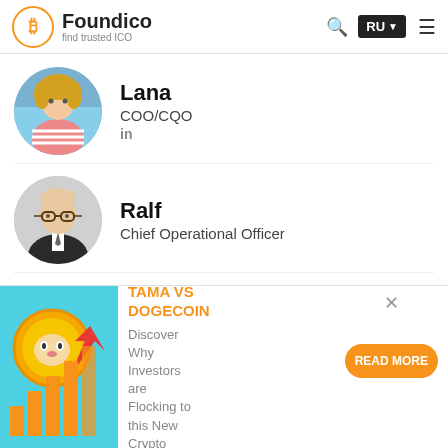Foundico — find trusted ICO
[Figure (photo): Profile photo of Lana, a woman in a striped top outdoors]
Lana
COO/CQO
in
[Figure (photo): Profile photo of Ralf, an older man with glasses in a suit]
Ralf
Chief Operational Officer
[Figure (photo): Profile photo of Albert, a man in a suit]
Albert
Chief Financial Officer
[Figure (illustration): Ad banner: TAMA VS DOGECOIN — Discover Why Investors are Flocking to this New Crypto, with READ MORE button]